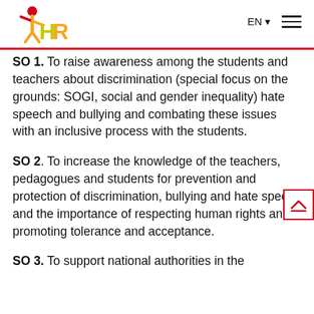IHR logo, EN language selector, hamburger menu
SO 1. To raise awareness among the students and teachers about discrimination (special focus on the grounds: SOGI, social and gender inequality) hate speech and bullying and combating these issues with an inclusive process with the students.
SO 2. To increase the knowledge of the teachers, pedagogues and students for prevention and protection of discrimination, bullying and hate speech and the importance of respecting human rights and promoting tolerance and acceptance.
SO 3. To support national authorities in the